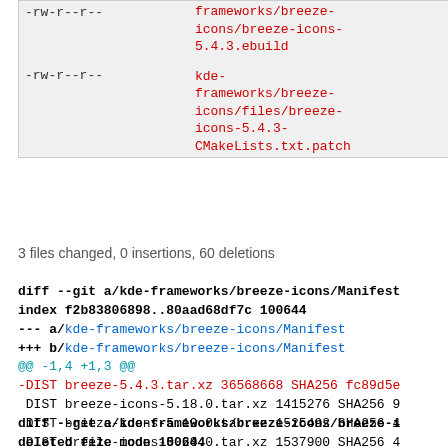| permissions | filename | size |
| --- | --- | --- |
| -rw-r--r-- | frameworks/breeze-icons/breeze-icons-5.4.3.ebuild | 221 |
| -rw-r--r-- | kde-frameworks/breeze-icons/files/breeze-icons-5.4.3-CMakeLists.txt.patch | 371 |
3 files changed, 0 insertions, 60 deletions
diff --git a/kde-frameworks/breeze-icons/Manifest
index f2b83806898..80aad68df7c 100644
--- a/kde-frameworks/breeze-icons/Manifest
+++ b/kde-frameworks/breeze-icons/Manifest
@@ -1,4 +1,3 @@
-DIST breeze-5.4.3.tar.xz 36568668 SHA256 fc89d5e
 DIST breeze-icons-5.18.0.tar.xz 1415276 SHA256 9
 DIST breeze-icons-5.19.0.tar.xz 1525492 SHA256 4
 DIST breeze-icons-5.20.0.tar.xz 1537900 SHA256 4
diff --git a/kde-frameworks/breeze-icons/breeze-i
deleted file mode 100644